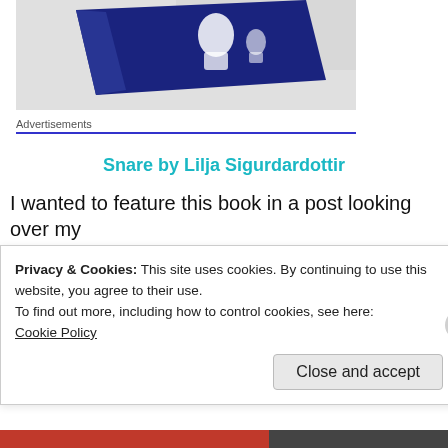[Figure (photo): Partial view of a dark blue book cover on a white surface, seen from an angle, with white illustrated figures on the cover.]
Advertisements
Snare by Lilja Sigurdardottir
I wanted to feature this book in a post looking over my
Privacy & Cookies: This site uses cookies. By continuing to use this website, you agree to their use.
To find out more, including how to control cookies, see here:
Cookie Policy
Close and accept